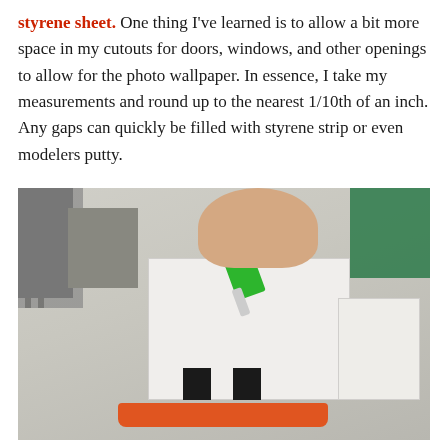styrene sheet. One thing I've learned is to allow a bit more space in my cutouts for doors, windows, and other openings to allow for the photo wallpaper. In essence, I take my measurements and round up to the nearest 1/10th of an inch. Any gaps can quickly be filled with styrene strip or even modelers putty.
[Figure (photo): A hand holding a green glue bottle applying adhesive to a white styrene building model structure sitting on an orange base platform, on a light gray workbench surface. Metal reference blocks visible in background upper left, green cutting mat visible upper right.]